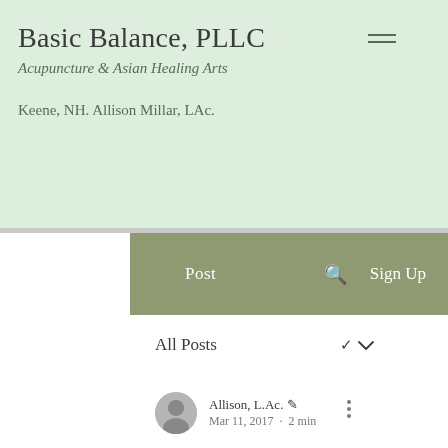Basic Balance, PLLC
Acupuncture & Asian Healing Arts
Keene, NH. Allison Millar, LAc.
Post    Sign Up
All Posts
Allison, L.Ac. ✍  Mar 11, 2017 · 2 min
Acid Reflux- why it happens, what you can do about it & Allison's #1 recommendation